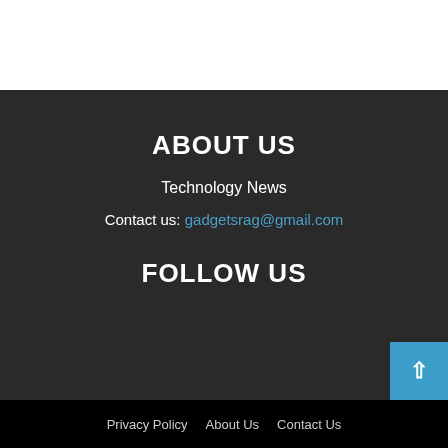ABOUT US
Technology News
Contact us: gadgetsrag@gmail.com
FOLLOW US
Privacy Policy   About Us   Contact Us